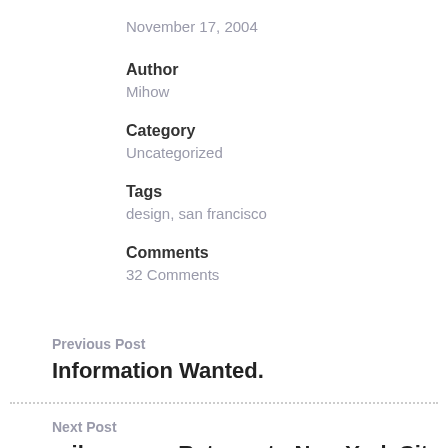November 17, 2004
Author
Mihow
Category
Uncategorized
Tags
design, san francisco
Comments
32 Comments
Previous Post
Information Wanted.
Next Post
mihow.com Returns to New York City